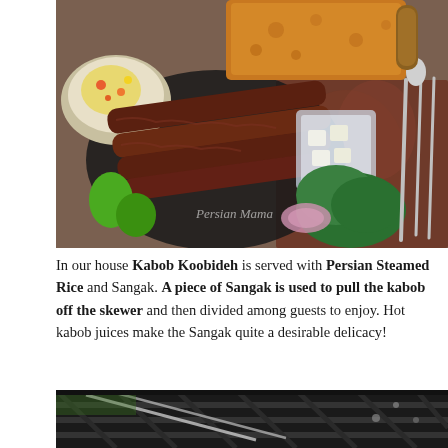[Figure (photo): Overhead view of Persian kabob koobideh meal spread on a table with rice, sangak bread, herbs, onion, cheese, and cutlery on a decorative tablecloth. Watermark reads 'Persian Mama'.]
In our house Kabob Koobideh is served with Persian Steamed Rice and Sangak. A piece of Sangak is used to pull the kabob off the skewer and then divided among guests to enjoy. Hot kabob juices make the Sangak quite a desirable delicacy!
[Figure (photo): Close-up of kabob on a grill rack over a barbecue grill.]